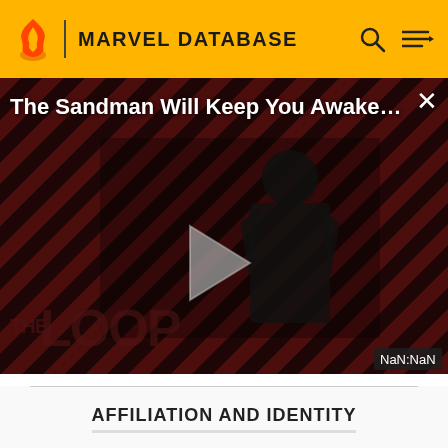MARVEL DATABASE
[Figure (screenshot): Video player overlay showing 'The Sandman Will Keep You Awake...' with a dark-clad figure against diagonal red/black striped background. Play button in center. THE LOOP branding at bottom. NaN:NaN timestamp badge at bottom right.]
AFFILIATION AND IDENTITY
|  |  |
| --- | --- |
| IDENTITY | Public |